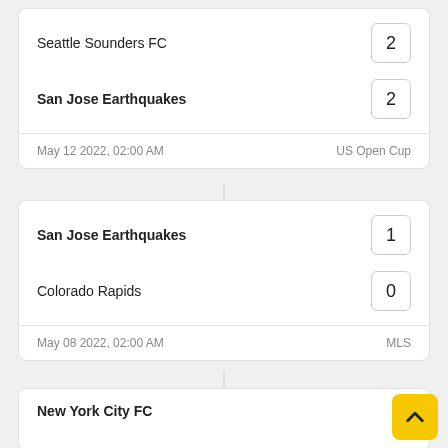| Team | Score |
| --- | --- |
| Seattle Sounders FC | 2 |
| San Jose Earthquakes | 2 |
| May 12 2022, 02:00 AM | US Open Cup |
| Team | Score |
| --- | --- |
| San Jose Earthquakes | 1 |
| Colorado Rapids | 0 |
| May 08 2022, 02:00 AM | MLS |
| Team | Score |
| --- | --- |
| New York City FC | 3 |
| San Jose Earthquakes | 0 |
| May 01 2022, 05:00 PM | MLS |
| Team | Score |
| --- | --- |
| San Jose Earthquakes | 4 |